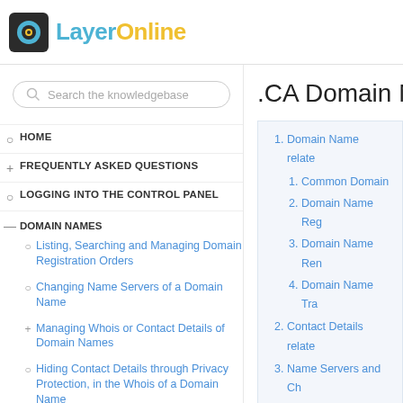[Figure (logo): LayerOnline logo with icon and text]
[Figure (other): Search box with magnifier icon and placeholder text 'Search the knowledgebase']
HOME
FREQUENTLY ASKED QUESTIONS
LOGGING INTO THE CONTROL PANEL
DOMAIN NAMES
Listing, Searching and Managing Domain Registration Orders
Changing Name Servers of a Domain Name
Managing Whois or Contact Details of Domain Names
Hiding Contact Details through Privacy Protection, in the Whois of a Domain Name
.CA Domain N
1. Domain Name relate
1. Common Domain
2. Domain Name Reg
3. Domain Name Ren
4. Domain Name Tra
2. Contact Details relate
3. Name Servers and Ch
Domain Name relat
Common Domain Na